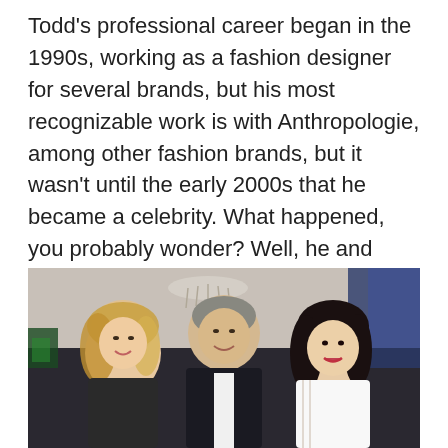Todd's professional career began in the 1990s, working as a fashion designer for several brands, but his most recognizable work is with Anthropologie, among other fashion brands, but it wasn't until the early 2000s that he became a celebrity. What happened, you probably wonder? Well, he and Giada married in 2003.
[Figure (photo): Three people posing together at an indoor event. A woman with blonde highlights on the left, a tall man with grey hair in the center wearing a dark blazer, and a woman with dark hair on the right. A chandelier is visible in the background.]